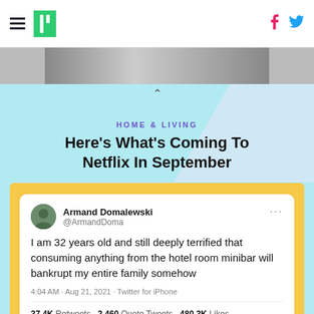HuffPost navigation header with hamburger menu, logo, Facebook and Twitter icons
[Figure (photo): Partial grayscale photo of people, cropped at top]
HOME & LIVING
Here's What's Coming To Netflix In September
[Figure (screenshot): Tweet by Armand Domalewski (@ArmandDoma): 'I am 32 years old and still deeply terrified that consuming anything from the hotel room minibar will bankrupt my entire family somehow'. 4:04 AM · Aug 21, 2021 · Twitter for iPhone. 37.4K Retweets   2,460 Quote Tweets   480.3K Likes]
HOME & LIVING